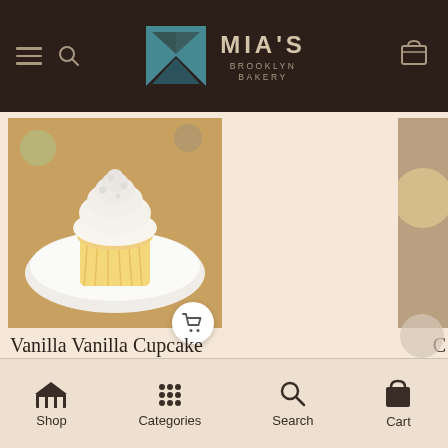MIA'S BROOKLYN BAKERY
[Figure (photo): A vanilla cupcake with white cream frosting and pearl decorations on a white plate, photographed from slightly above on a wooden surface background.]
Vanilla Vanilla Cupcake
$3.50
Shop | Categories | Search | Cart